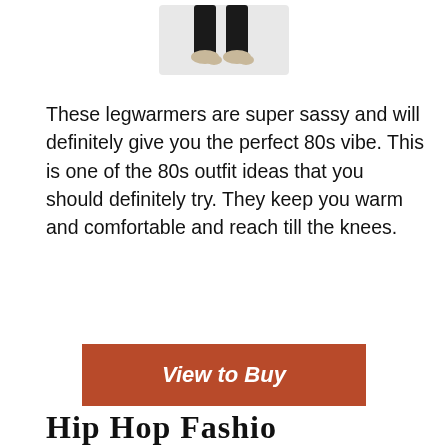[Figure (photo): Cropped photo of person's lower legs/feet wearing black legwarmers, shown from below the knee, white background]
These legwarmers are super sassy and will definitely give you the perfect 80s vibe. This is one of the 80s outfit ideas that you should definitely try. They keep you warm and comfortable and reach till the knees.
[Figure (other): View to Buy button - rust/terracotta colored rectangular button with italic bold white text]
Hip Hop Fashion